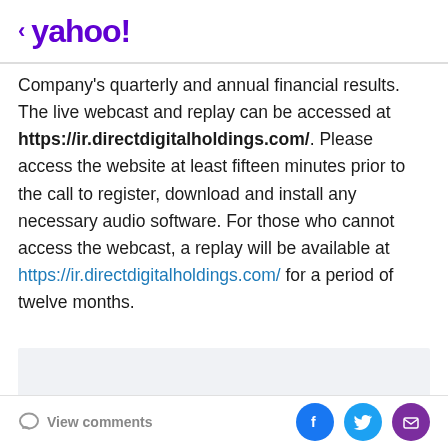< yahoo!
Company's quarterly and annual financial results. The live webcast and replay can be accessed at https://ir.directdigitalholdings.com/. Please access the website at least fifteen minutes prior to the call to register, download and install any necessary audio software. For those who cannot access the webcast, a replay will be available at https://ir.directdigitalholdings.com/ for a period of twelve months.
[Figure (other): Light gray advertisement placeholder box]
View comments | Share on Facebook, Twitter, Email